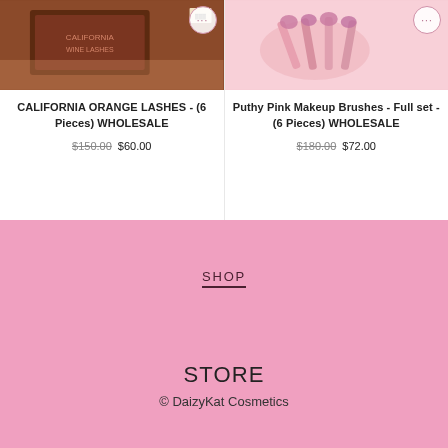[Figure (photo): Product photo of California Orange Lashes box on wooden surface with more options button]
CALIFORNIA ORANGE LASHES - (6 Pieces) WHOLESALE
$150.00 $60.00
[Figure (photo): Product photo of Puthy Pink Makeup Brushes on pink background with more options button]
Puthy Pink Makeup Brushes - Full set - (6 Pieces) WHOLESALE
$180.00 $72.00
SHOP
STORE
© DaizyKat Cosmetics